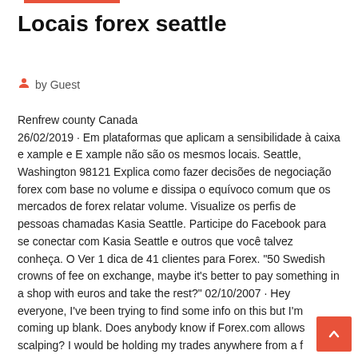Locais forex seattle
by Guest
Renfrew county Canada
26/02/2019 · Em plataformas que aplicam a sensibilidade à caixa e xample e E xample não são os mesmos locais. Seattle, Washington 98121 Explica como fazer decisões de negociação forex com base no volume e dissipa o equívoco comum que os mercados de forex relatar volume. Visualize os perfis de pessoas chamadas Kasia Seattle. Participe do Facebook para se conectar com Kasia Seattle e outros que você talvez conheça. O Ver 1 dica de 41 clientes para Forex. "50 Swedish crowns of fee on exchange, maybe it's better to pay something in a shop with euros and take the rest?" 02/10/2007 · Hey everyone, I've been trying to find some info on this but I'm coming up blank. Does anybody know if Forex.com allows scalping? I would be holding my trades anywhere from a few seconds to a few minutes (and no I am not trading the news).